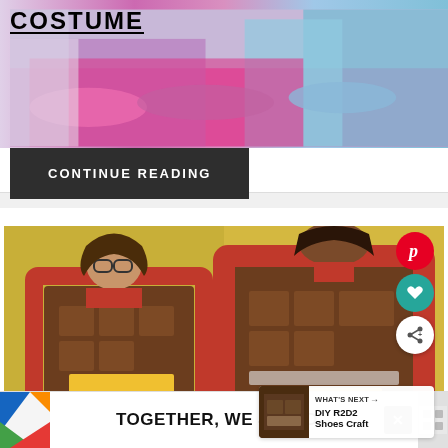[Figure (photo): Top of costume photo showing colorful layered fabric in pink, purple, and blue hues with COSTUME text overlay]
COSTUME
CONTINUE READING
[Figure (photo): Two women wearing DIY chocolate bar Halloween costumes on yellow background, with social share buttons (Pinterest, heart, share) and What's Next panel showing DIY R2D2 Shoes Craft]
WHAT'S NEXT → DIY R2D2 Shoes Craft
[Figure (advertisement): Ad banner with colorful left decoration, bold text TOGETHER, WE STAND, close button X, and small icon on right]